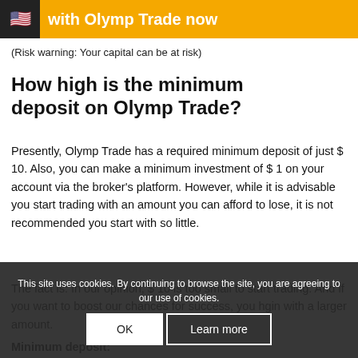[Figure (other): Orange banner with US flag icon and text 'with Olymp Trade now']
(Risk warning: Your capital can be at risk)
How high is the minimum deposit on Olymp Trade?
Presently, Olymp Trade has a required minimum deposit of just $ 10. Also, you can make a minimum investment of $ 1 on your account via the broker’s platform. However, while it is advisable you start trading with an amount you can afford to lose, it is not recommended you start with so little.
The fact is: In our opinion, $ 10 is too small to start trading. And if you want to boost our chances for success, you h... gin with a larger amount.
Minimum deposit:
This site uses cookies. By continuing to browse the site, you are agreeing to our use of cookies.